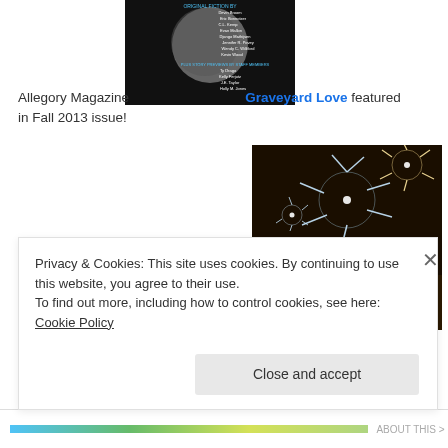[Figure (photo): Allegory Magazine cover showing a moon and list of authors including Devin Broom, Eric Bonnotzer, C.L. Kemp, Evan Mallon, Django Mathijsen, Jennifer R. Povey, Wendy C. Williford, Kevin Wood, plus story previews by staff members Ty Drago, Kelly Ferjutz, J.E. Taylor, Holly M. Jones]
Allegory Magazine   Graveyard Love featured in Fall 2013 issue!
[Figure (photo): Fireworks over a city skyline at night with bright colorful explosions in the sky]
Privacy & Cookies: This site uses cookies. By continuing to use this website, you agree to their use.
To find out more, including how to control cookies, see here: Cookie Policy
Close and accept